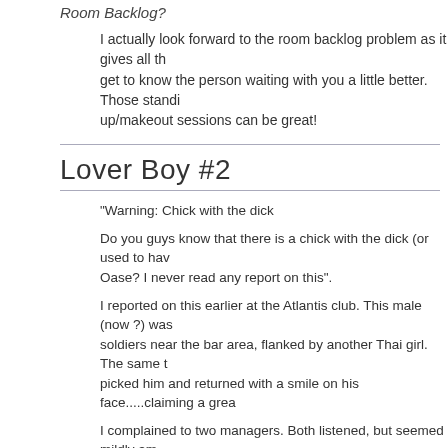Room Backlog?
I actually look forward to the room backlog problem as it gives all th... get to know the person waiting with you a little better. Those standi... up/makeout sessions can be great!
Lover Boy #2
"Warning: Chick with the dick
Do you guys know that there is a chick with the dick (or used to hav... Oase? I never read any report on this".
I reported on this earlier at the Atlantis club. This male (now ?) was... soldiers near the bar area, flanked by another Thai girl. The same t... picked him and returned with a smile on his face.....claiming a grea...
I complained to two managers. Both listened, but seemed mildly am... was a chick with a dick....no that the character should be working e... talent could be appreciated.
I personally don’t like this kind of stuff because it is easy for the ine... pick a dude up. This should not be happening in the FKK environm... protection against this. If a guy is looking for a chick with a dick, the... Germany for him to go...and guys who want this know this very wel... mystery penis/lady boy or unsuspecting mongers? I think this is s...